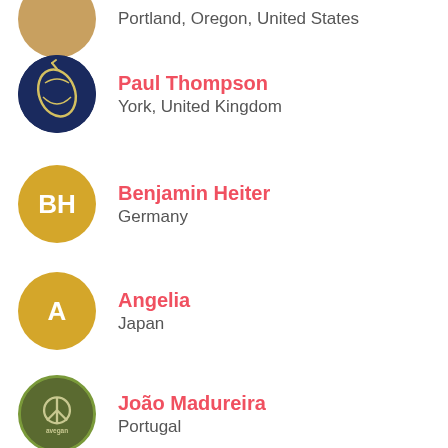Portland, Oregon, United States
Paul Thompson
York, United Kingdom
Benjamin Heiter
Germany
Angelia
Japan
João Madureira
Portugal
Andrea
Italy